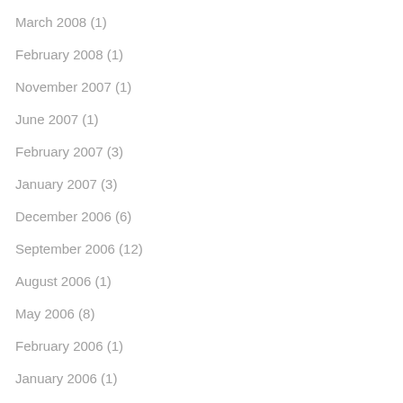March 2008 (1)
February 2008 (1)
November 2007 (1)
June 2007 (1)
February 2007 (3)
January 2007 (3)
December 2006 (6)
September 2006 (12)
August 2006 (1)
May 2006 (8)
February 2006 (1)
January 2006 (1)
October 2005 (2)